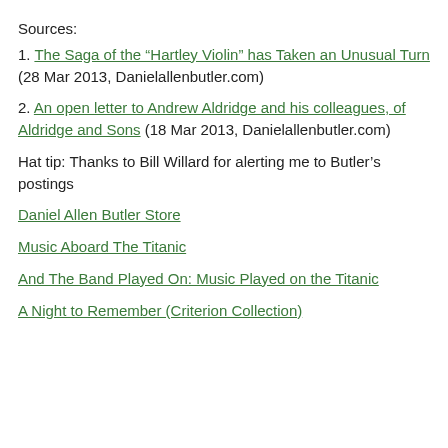Sources:
1. The Saga of the “Hartley Violin” has Taken an Unusual Turn (28 Mar 2013, Danielallenbutler.com)
2. An open letter to Andrew Aldridge and his colleagues, of Aldridge and Sons (18 Mar 2013, Danielallenbutler.com)
Hat tip: Thanks to Bill Willard for alerting me to Butler’s postings
Daniel Allen Butler Store
Music Aboard The Titanic
And The Band Played On: Music Played on the Titanic
A Night to Remember (Criterion Collection)